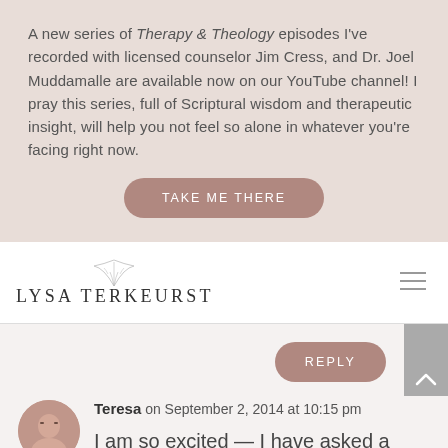A new series of Therapy & Theology episodes I've recorded with licensed counselor Jim Cress, and Dr. Joel Muddamalle are available now on our YouTube channel! I pray this series, full of Scriptural wisdom and therapeutic insight, will help you not feel so alone in whatever you're facing right now.
TAKE ME THERE
[Figure (logo): Lysa TerKeurst logo with decorative leaf/branch illustration above the text]
REPLY
Teresa on September 2, 2014 at 10:15 pm
I am so excited — I have asked a good friend of mine to do the Best Yes OBS with me, and she